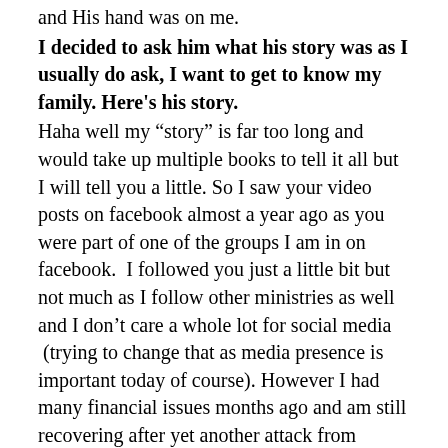and His hand was on me.
I decided to ask him what his story was as I usually do ask, I want to get to know my family. Here's his story.
Haha well my “story” is far too long and would take up multiple books to tell it all but I will tell you a little. So I saw your video posts on facebook almost a year ago as you were part of one of the groups I am in on facebook.  I followed you just a little bit but not much as I follow other ministries as well and I don’t care a whole lot for social media  (trying to change that as media presence is important today of course). However I had many financial issues months ago and am still recovering after yet another attack from certain occult members and witchcraft against my finances.  So I was without internet for awhile and other things so I lost touch with your ministry.  Last month I started a